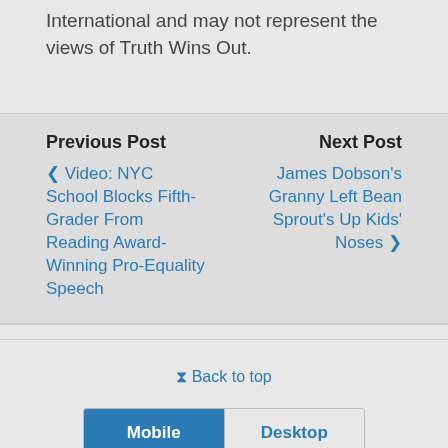International and may not represent the views of Truth Wins Out.
Previous Post
Next Post
❮ Video: NYC School Blocks Fifth-Grader From Reading Award-Winning Pro-Equality Speech
James Dobson's Granny Left Bean Sprout's Up Kids' Noses ❯
⇪ Back to top
Mobile
Desktop